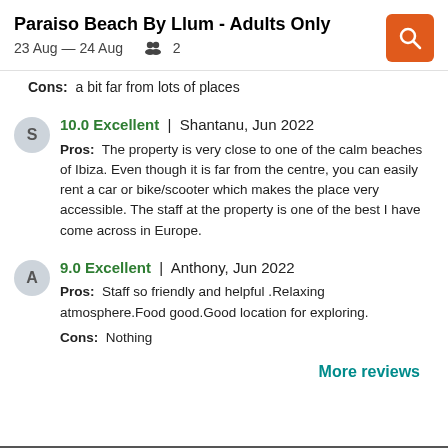Paraiso Beach By Llum - Adults Only
23 Aug — 24 Aug   2
Cons:  a bit far from lots of places
10.0 Excellent  |  Shantanu, Jun 2022
Pros:  The property is very close to one of the calm beaches of Ibiza. Even though it is far from the centre, you can easily rent a car or bike/scooter which makes the place very accessible. The staff at the property is one of the best I have come across in Europe.
9.0 Excellent  |  Anthony, Jun 2022
Pros:  Staff so friendly and helpful .Relaxing atmosphere.Food good.Good location for exploring.
Cons:  Nothing
More reviews